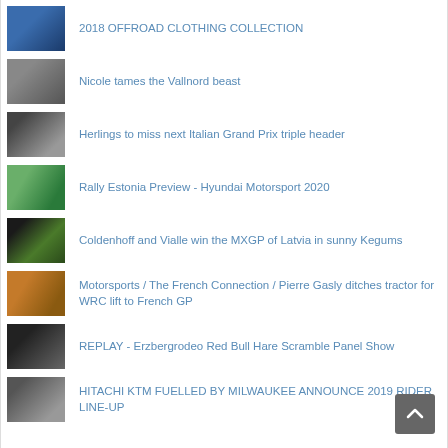2018 OFFROAD CLOTHING COLLECTION
Nicole tames the Vallnord beast
Herlings to miss next Italian Grand Prix triple header
Rally Estonia Preview - Hyundai Motorsport 2020
Coldenhoff and Vialle win the MXGP of Latvia in sunny Kegums
Motorsports / The French Connection / Pierre Gasly ditches tractor for WRC lift to French GP
REPLAY - Erzbergrodeo Red Bull Hare Scramble Panel Show
HITACHI KTM FUELLED BY MILWAUKEE ANNOUNCE 2019 RIDER LINE-UP